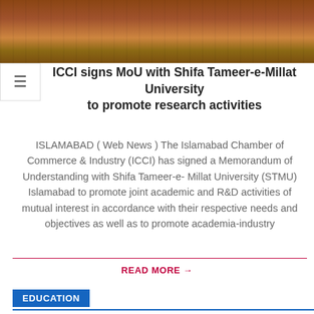[Figure (photo): Wooden floor/table surface photo, brown tones, partial view]
ICCI signs MoU with Shifa Tameer-e-Millat University to promote research activities
ISLAMABAD ( Web News ) The Islamabad Chamber of Commerce & Industry (ICCI) has signed a Memorandum of Understanding with Shifa Tameer-e- Millat University (STMU) Islamabad to promote joint academic and R&D activities of mutual interest in accordance with their respective needs and objectives as well as to promote academia-industry
READ MORE →
EDUCATION